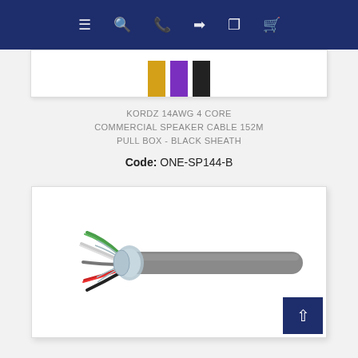Navigation bar with menu, search, phone, login, grid, and cart icons
[Figure (photo): Partial view of cable product image showing yellow, purple, and black cable sheaths]
KORDZ 14AWG 4 CORE COMMERCIAL SPEAKER CABLE 152M PULL BOX - BLACK SHEATH
Code: ONE-SP144-B
[Figure (photo): Photo of a multi-core shielded cable with grey outer sheath, showing exposed internal wires in green, red, black, and other colors with metallic shielding braid]